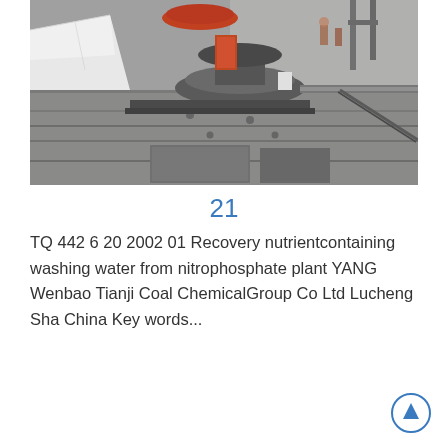[Figure (photo): Industrial machinery at a chemical plant facility — large metal components including a cone/disc shaped part, mechanical frames on a concrete surface, with workers visible in background.]
21
TQ 442 6 20 2002 01 Recovery nutrientcontaining washing water from nitrophosphate plant YANG Wenbao Tianji Coal ChemicalGroup Co Ltd Lucheng Sha China Key words...